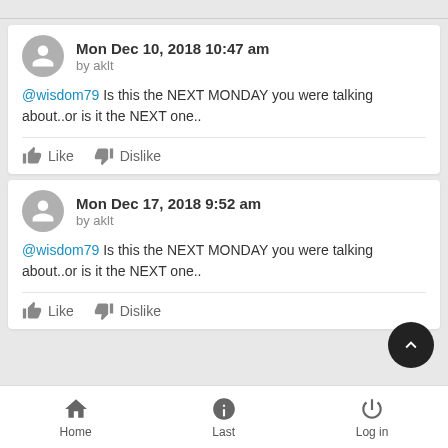Mon Dec 10, 2018 10:47 am
by aklt
@wisdom79 Is this the NEXT MONDAY you were talking about..or is it the NEXT one..
Mon Dec 17, 2018 9:52 am
by aklt
@wisdom79 Is this the NEXT MONDAY you were talking about..or is it the NEXT one..
Home  Last  Log in